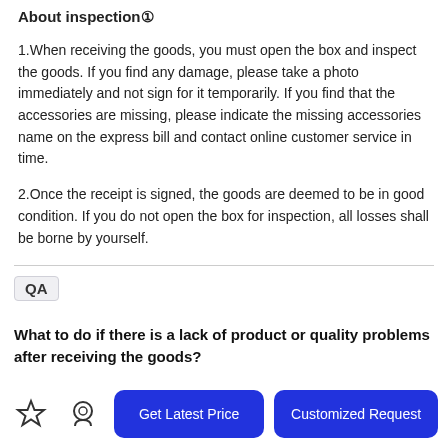About inspection⒈
1.When receiving the goods, you must open the box and inspect the goods. If you find any damage, please take a photo immediately and not sign for it temporarily. If you find that the accessories are missing, please indicate the missing accessories name on the express bill and contact online customer service in time.
2.Once the receipt is signed, the goods are deemed to be in good condition. If you do not open the box for inspection, all losses shall be borne by yourself.
QA
What to do if there is a lack of product or quality problems after receiving the goods?
A：If the received goods are missing or have quality problems, please contact the after-sales customer service in time. If there are quality problems, please take a